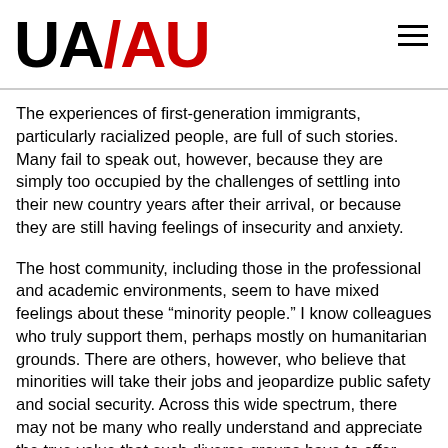UA/AU
The experiences of first-generation immigrants, particularly racialized people, are full of such stories. Many fail to speak out, however, because they are simply too occupied by the challenges of settling into their new country years after their arrival, or because they are still having feelings of insecurity and anxiety.
The host community, including those in the professional and academic environments, seem to have mixed feelings about these “minority people.” I know colleagues who truly support them, perhaps mostly on humanitarian grounds. There are others, however, who believe that minorities will take their jobs and jeopardize public safety and social security. Across this wide spectrum, there may not be many who really understand and appreciate the true value that such diverse groups have to offer.
It is hard to deny that diversity is a good thing. A diverse range of backgrounds, stories, experiences and opinions